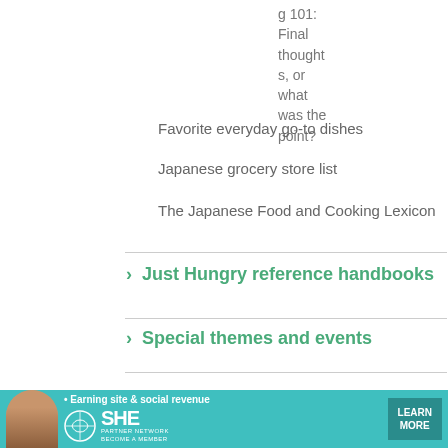g 101: Final thoughts, or what was the point?
Favorite everyday go-to dishes
Japanese grocery store list
The Japanese Food and Cooking Lexicon
> Just Hungry reference handbooks
> Special themes and events
The Just Bento Cookbook
[Figure (infographic): SHE Media partner network advertisement banner with woman photo, bullet point 'Earning site & social revenue', SHE logo, partner network text, become a member text, and Learn More button]